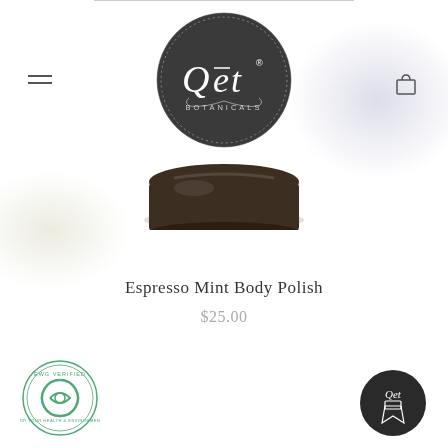[Figure (logo): Qet Botanicals circular logo with dark background and ornate border]
[Figure (photo): Product photo of a dark round jar of Espresso Mint Body Polish, partially visible at the bottom of the image region]
Espresso Mint Body Polish
$25.00
[Figure (logo): EWG Verified circular green badge seal]
[Figure (logo): Dark circular Qet Botanicals badge with ribbon icon, bottom right corner]